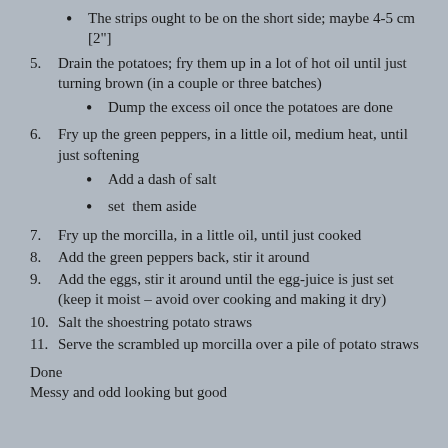The strips ought to be on the short side; maybe 4-5 cm [2"]
5. Drain the potatoes; fry them up in a lot of hot oil until just turning brown (in a couple or three batches)
Dump the excess oil once the potatoes are done
6. Fry up the green peppers, in a little oil, medium heat, until just softening
Add a dash of salt
set  them aside
7. Fry up the morcilla, in a little oil, until just cooked
8. Add the green peppers back, stir it around
9. Add the eggs, stir it around until the egg-juice is just set (keep it moist – avoid over cooking and making it dry)
10. Salt the shoestring potato straws
11. Serve the scrambled up morcilla over a pile of potato straws
Done
Messy and odd looking but good